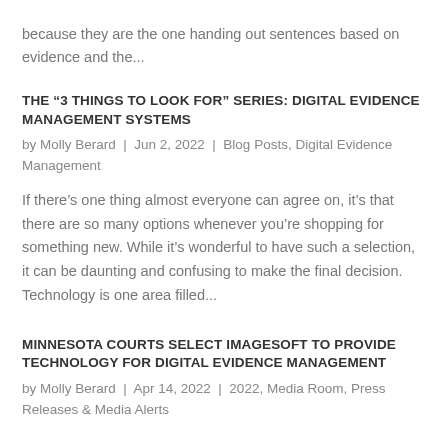because they are the one handing out sentences based on evidence and the...
THE “3 THINGS TO LOOK FOR” SERIES: DIGITAL EVIDENCE MANAGEMENT SYSTEMS
by Molly Berard | Jun 2, 2022 | Blog Posts, Digital Evidence Management
If there’s one thing almost everyone can agree on, it’s that there are so many options whenever you’re shopping for something new. While it’s wonderful to have such a selection, it can be daunting and confusing to make the final decision. Technology is one area filled...
MINNESOTA COURTS SELECT IMAGESOFT TO PROVIDE TECHNOLOGY FOR DIGITAL EVIDENCE MANAGEMENT
by Molly Berard | Apr 14, 2022 | 2022, Media Room, Press Releases & Media Alerts